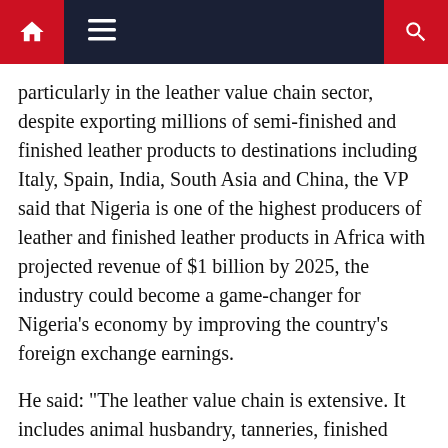Navigation bar with home, menu, and search icons
particularly in the leather value chain sector, despite exporting millions of semi-finished and finished leather products to destinations including Italy, Spain, India, South Asia and China, the VP said that Nigeria is one of the highest producers of leather and finished leather products in Africa with projected revenue of $1 billion by 2025, the industry could become a game-changer for Nigeria’s economy by improving the country’s foreign exchange earnings.
He said: “The leather value chain is extensive. It includes animal husbandry, tanneries, finished leather products and leather products marketing. The leather and leather products industry currently employs over 750,000 workers with about 500,000 workers in the finished leather goods sector. About 11 leather exporting companies have been active at the upstream end of the leather value chain. Also,